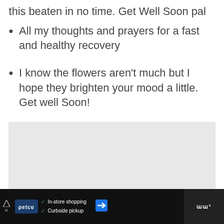this beaten in no time. Get Well Soon pal
All my thoughts and prayers for a fast and healthy recovery
I know the flowers aren't much but I hope they brighten your mood a little. Get well Soon!
[Figure (screenshot): Grey placeholder image area below the list items, with floating like button showing heart icon, count of 16, share button, and a 'WHAT'S NEXT' card showing '60+ Get Well Wishes for...']
[Figure (screenshot): Advertisement bar at bottom: Petco ad showing 'In-store shopping' and 'Curbside pickup' checkmarks, navigation arrow icon, and dark right panel]